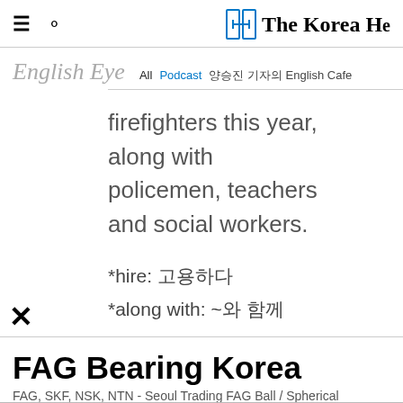The Korea Herald — English Eye | All | Podcast | 양승진 기자의 English Cafe
firefighters this year, along with policemen, teachers and social workers.
*hire: 고용하다
*along with: ~와 함께
FAG Bearing Korea
FAG, SKF, NSK, NTN - Seoul Trading FAG Ball / Spherical